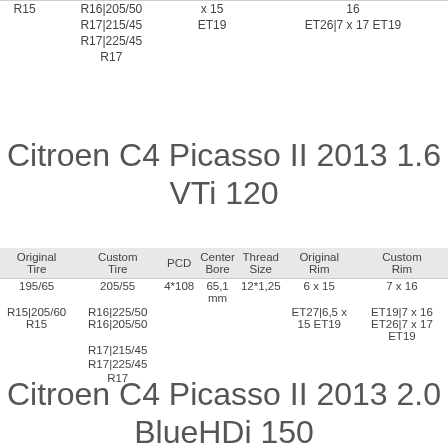| Original Tire | Custom Tire | PCD | Center Bore | Thread Size | Original Rim | Custom Rim |
| --- | --- | --- | --- | --- | --- | --- |
| R15 | R16|205/50 |  | x 15 | 16 |
|  | R17|215/45 |  | ET19 | ET26|7 x 17 ET19 |
|  | R17|225/45 |  |  |  |
|  | R17 |  |  |  |
Citroen C4 Picasso II 2013 1.6 VTi 120
| Original Tire | Custom Tire | PCD | Center Bore | Thread Size | Original Rim | Custom Rim |
| --- | --- | --- | --- | --- | --- | --- |
| 195/65 | 205/55 | 4*108 | 65,1 mm | 12*1,25 | 6 x 15 | 7 x 16 |
| R15|205/60 R15 | R16|225/50 R16|205/50 |  |  |  | ET27|6,5 x 15 ET19 | ET19|7 x 16 ET26|7 x 17 ET19 |
|  | R17|215/45 |  |  |  |  |  |
|  | R17|225/45 |  |  |  |  |  |
|  | R17 |  |  |  |  |  |
Citroen C4 Picasso II 2013 2.0 BlueHDi 150